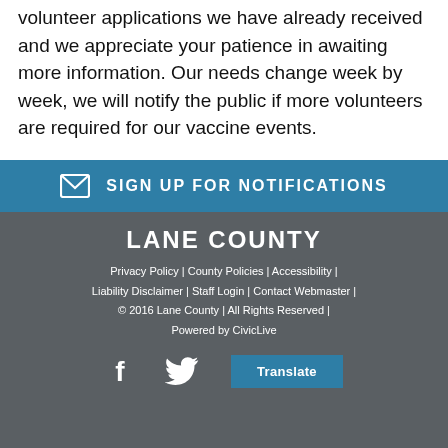volunteer applications we have already received and we appreciate your patience in awaiting more information. Our needs change week by week, we will notify the public if more volunteers are required for our vaccine events.
✉ SIGN UP FOR NOTIFICATIONS
LANE COUNTY
Privacy Policy | County Policies | Accessibility | Liability Disclaimer | Staff Login | Contact Webmaster | © 2016 Lane County | All Rights Reserved | Powered by CivicLive
[Figure (other): Facebook and Twitter social media icons, and a Translate button]